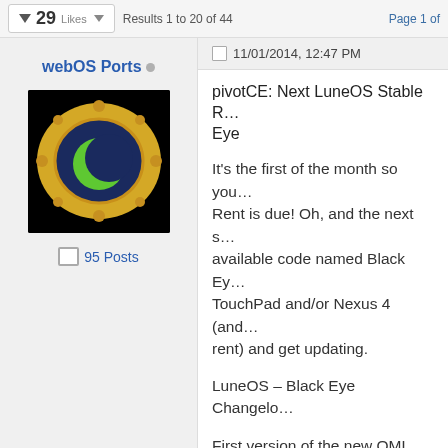29 Likes  Results 1 to 20 of 44  Page 1 of
webOS Ports
[Figure (illustration): webOS Ports avatar: a gold porthole/eye icon with a dark blue iris and green crescent moon pupil on a black background]
95 Posts
11/01/2014, 12:47 PM
pivotCE: Next LuneOS Stable Release – Black Eye
It's the first of the month so you know what that means! Rent is due! Oh, and the next stable version is now available code named Black Eye. Grab it for your TouchPad and/or Nexus 4 (and pay your rent) and get updating.
LuneOS – Black Eye Changelog
First version of the new QML based phone app, including fresh new layout.
Wifi works at first use without re